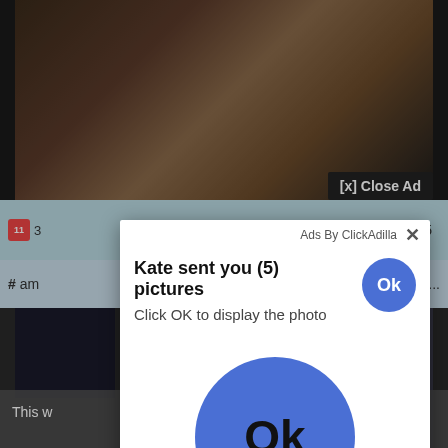[Figure (screenshot): Screenshot of a webpage with a video in the background, a '[x] Close Ad' button, a notification popup saying 'Kate sent you (5) pictures / Click OK to display the photo' with a blue Ok button, and a large blue Ok button below. The page background shows video content and a semi-transparent gray overlay with partial text 'This w...' and 'ng our' and 'r'. Bottom right shows 'cqo' label. 'Ads By ClickAdilla' text appears with an X close button in the modal.]